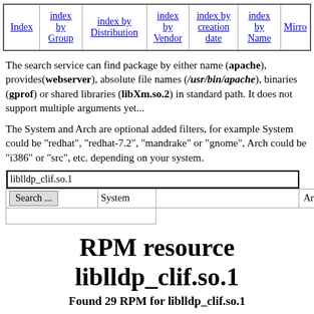Index | index by Group | index by Distribution | index by Vendor | index by creation date | index by Name | Mirrors
The search service can find package by either name (apache), provides(webserver), absolute file names (/usr/bin/apache), binaries (gprof) or shared libraries (libXm.so.2) in standard path. It does not support multiple arguments yet...
The System and Arch are optional added filters, for example System could be "redhat", "redhat-7.2", "mandrake" or "gnome", Arch could be "i386" or "src", etc. depending on your system.
Search input: liblldp_clif.so.1 | System field | Arch field
RPM resource liblldp_clif.so.1
Found 29 RPM for liblldp_clif.so.1